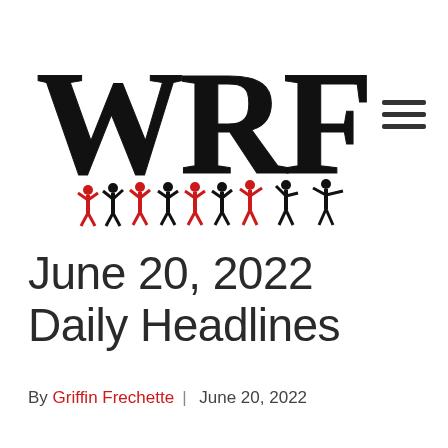[Figure (logo): WRFI radio station logo: large bold black letters W R F I with red and black silhouetted figures holding them up]
June 20, 2022 Daily Headlines
By Griffin Frechette | June 20, 2022